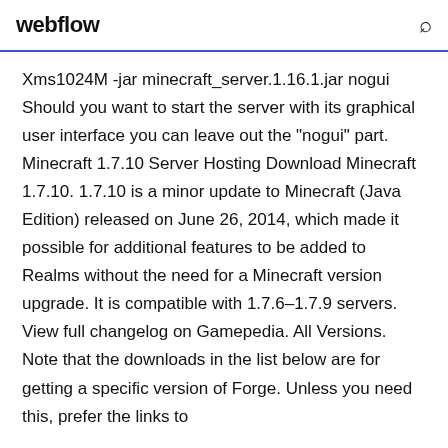webflow
Xms1024M -jar minecraft_server.1.16.1.jar nogui Should you want to start the server with its graphical user interface you can leave out the "nogui" part. Minecraft 1.7.10 Server Hosting Download Minecraft 1.7.10. 1.7.10 is a minor update to Minecraft (Java Edition) released on June 26, 2014, which made it possible for additional features to be added to Realms without the need for a Minecraft version upgrade. It is compatible with 1.7.6–1.7.9 servers. View full changelog on Gamepedia. All Versions. Note that the downloads in the list below are for getting a specific version of Forge. Unless you need this, prefer the links to